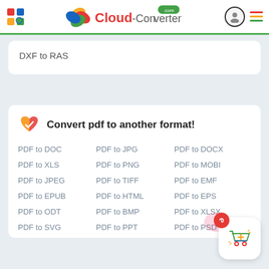[Figure (screenshot): Cloud-Converter.com website header with logo, avatar icon, and hamburger menu]
DXF to RAS
Convert pdf to another format!
PDF to DOC
PDF to JPG
PDF to DOCX
PDF to XLS
PDF to PNG
PDF to MOBI
PDF to JPEG
PDF to TIFF
PDF to EMF
PDF to EPUB
PDF to HTML
PDF to EPS
PDF to ODT
PDF to BMP
PDF to XLSX
PDF to SVG
PDF to PPT
PDF to PSD